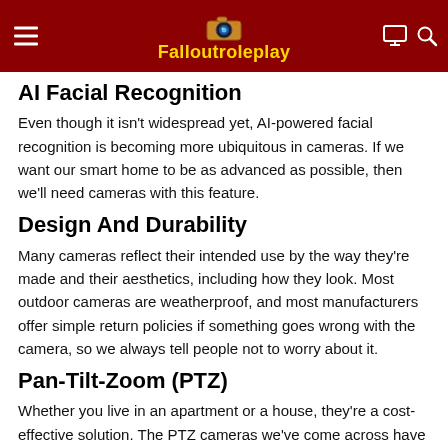Falloutroleplay
AI Facial Recognition
Even though it isn't widespread yet, AI-powered facial recognition is becoming more ubiquitous in cameras. If we want our smart home to be as advanced as possible, then we'll need cameras with this feature.
Design And Durability
Many cameras reflect their intended use by the way they're made and their aesthetics, including how they look. Most outdoor cameras are weatherproof, and most manufacturers offer simple return policies if something goes wrong with the camera, so we always tell people not to worry about it.
Pan-Tilt-Zoom (PTZ)
Whether you live in an apartment or a house, they're a cost-effective solution. The PTZ cameras we've come across have mechanical lenses that rotate Exorcist-style, allowing us to view